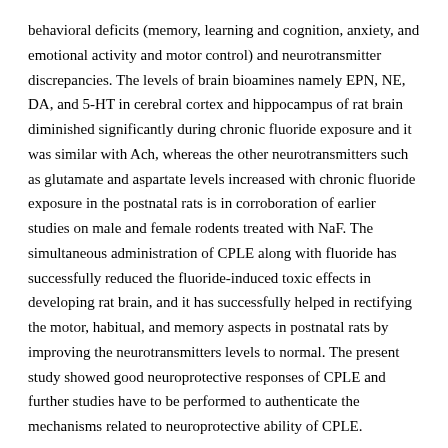behavioral deficits (memory, learning and cognition, anxiety, and emotional activity and motor control) and neurotransmitter discrepancies. The levels of brain bioamines namely EPN, NE, DA, and 5-HT in cerebral cortex and hippocampus of rat brain diminished significantly during chronic fluoride exposure and it was similar with Ach, whereas the other neurotransmitters such as glutamate and aspartate levels increased with chronic fluoride exposure in the postnatal rats is in corroboration of earlier studies on male and female rodents treated with NaF. The simultaneous administration of CPLE along with fluoride has successfully reduced the fluoride-induced toxic effects in developing rat brain, and it has successfully helped in rectifying the motor, habitual, and memory aspects in postnatal rats by improving the neurotransmitters levels to normal. The present study showed good neuroprotective responses of CPLE and further studies have to be performed to authenticate the mechanisms related to neuroprotective ability of CPLE.
Acknowledgements
We acknowledge the partial financial support under DBT project (Sanction Order No. BT/PR/14040/med/30/336/2010), New Delhi, UGC-F19-118 (2014) BSR and F.5-26/2015-BSA-I (SAP).